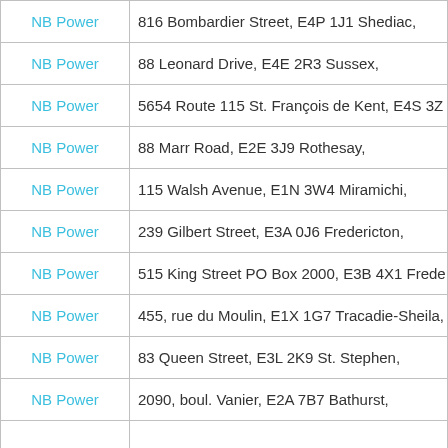| Organization | Address |
| --- | --- |
| NB Power | 816 Bombardier Street, E4P 1J1 Shediac, |
| NB Power | 88 Leonard Drive, E4E 2R3 Sussex, |
| NB Power | 5654 Route 115 St. François de Kent, E4S 3Z |
| NB Power | 88 Marr Road, E2E 3J9 Rothesay, |
| NB Power | 115 Walsh Avenue, E1N 3W4 Miramichi, |
| NB Power | 239 Gilbert Street, E3A 0J6 Fredericton, |
| NB Power | 515 King Street PO Box 2000, E3B 4X1 Frede |
| NB Power | 455, rue du Moulin, E1X 1G7 Tracadie-Sheila, |
| NB Power | 83 Queen Street, E3L 2K9 St. Stephen, |
| NB Power | 2090, boul. Vanier, E2A 7B7 Bathurst, |